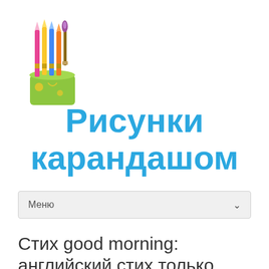[Figure (illustration): A green pencil holder cup containing multiple colored pencils and a paintbrush, cartoon style illustration]
Рисунки карандашом
Меню
Стих good morning: английский стих только